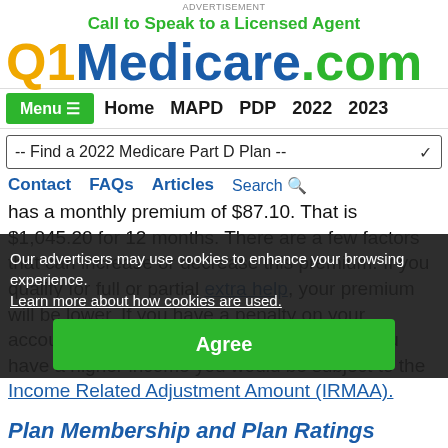Advertisement
Call to Speak to a Licensed Agent
Q1Medicare.com
Menu ≡  Home  MAPD  PDP  2022  2023
-- Find a 2022 Medicare Part D Plan --
Contact  FAQs  Articles  Search
has a monthly premium of $87.10. That is $1,045.20 for 12 months. There are a few factors that can increase or decrease this premium. If you qualify for full or partial extra help, your premium will be lower. If you have a penalty on your account, your premium will be higher. Or if you have a higher income you would be subject to the Income Related Adjustment Amount (IRMAA).
Our advertisers may use cookies to enhance your browsing experience.
Learn more about how cookies are used.
Agree
Plan Membership and Plan Ratings